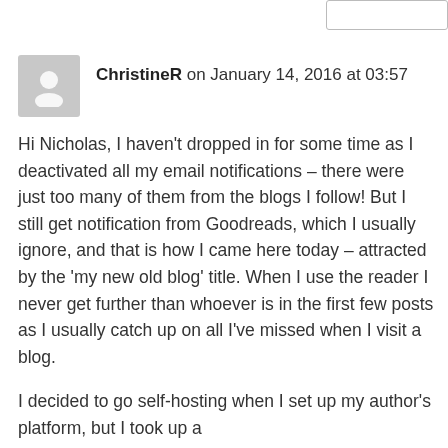ChristineR on January 14, 2016 at 03:57
Hi Nicholas, I haven't dropped in for some time as I deactivated all my email notifications – there were just too many of them from the blogs I follow! But I still get notification from Goodreads, which I usually ignore, and that is how I came here today – attracted by the 'my new old blog' title. When I use the reader I never get further than whoever is in the first few posts as I usually catch up on all I've missed when I visit a blog.
I decided to go self-hosting when I set up my author's platform, but I took up a